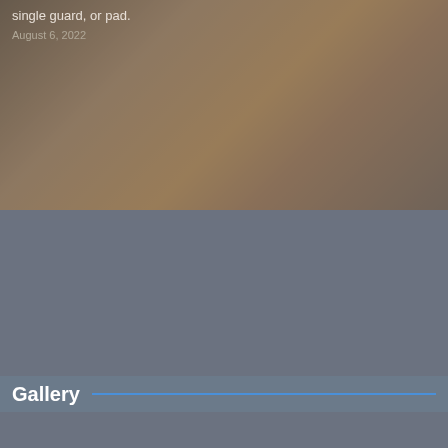single guard, or pad.
August 6, 2022
Gallery
[Figure (photo): Grid of 6 photos: surgery operating room with hexagonal lights, dancer with red ribbon, darts, person at laptop with calculator, plant seedling growing from coins, olive oil pouring into glass bowl with olives]